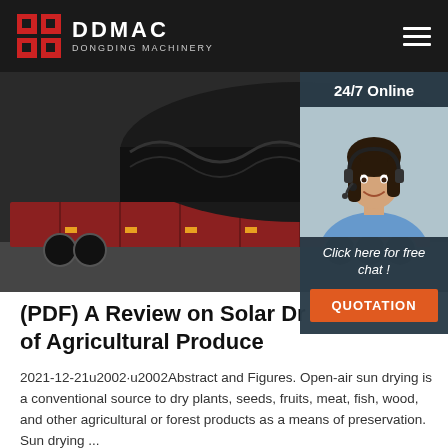DDMAC DONGDING MACHINERY
[Figure (photo): Industrial machinery (large cylindrical/spiral component) loaded on a flatbed truck/trailer, dark industrial setting]
[Figure (photo): 24/7 Online customer service agent — woman with headset smiling, with 'Click here for free chat!' and 'QUOTATION' button overlay]
(PDF) A Review on Solar Drying of Agricultural Produce
2021-12-21u2002·u2002Abstract and Figures. Open-air sun drying is a conventional source to dry plants, seeds, fruits, meat, fish, wood, and other agricultural or forest products as a means of preservation. Sun drying ...